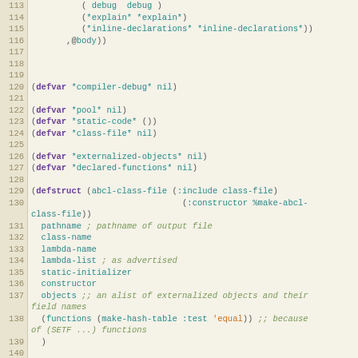Code listing lines 113-143, Lisp source code for ABCL compiler